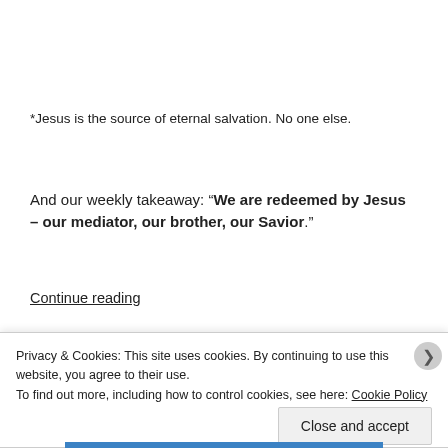*Jesus is the source of eternal salvation. No one else.
And our weekly takeaway: “We are redeemed by Jesus – our mediator, our brother, our Savior.”
Continue reading
Privacy & Cookies: This site uses cookies. By continuing to use this website, you agree to their use.
To find out more, including how to control cookies, see here: Cookie Policy
Close and accept